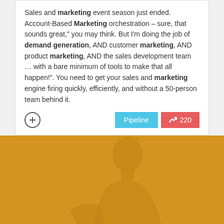Sales and marketing event season just ended. Account-Based Marketing orchestration – sure, that sounds great," you may think. But I'm doing the job of demand generation, AND customer marketing, AND product marketing, AND the sales development team … with a bare minimum of tools to make that all happen!". You need to get your sales and marketing engine firing quickly, efficiently, and without a 50-person team behind it.
[Figure (photo): Golden/amber tinted photo of a man with short hair, viewed from the side/front, with a blurred background. Heavy orange color overlay applied to the entire image.]